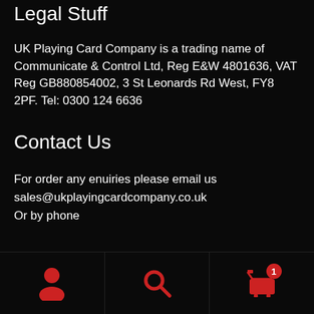Legal Stuff
UK Playing Card Company is a trading name of Communicate & Control Ltd, Reg E&W 4801636, VAT Reg GB880854002, 3 St Leonards Rd West, FY8 2PF. Tel: 0300 124 6636
Contact Us
For order any enuiries please email us sales@ukplayingcardcompany.co.uk Or by phone
[Figure (infographic): Bottom navigation bar with three icons: person/account icon, search magnifying glass icon, and shopping cart icon with red badge showing number 1]